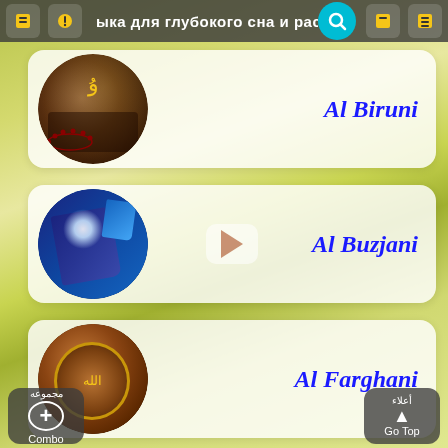ыка для глубокого сна и расслабления для души т
[Figure (screenshot): App list item: Al Biruni with Quran/rosary circular image on left]
Al Biruni
[Figure (screenshot): App list item: Al Buzjani with glowing Quran circular image on left and video play button overlay]
Al Buzjani
[Figure (screenshot): App list item: Al Farghani with ornate Quran circular image on left]
Al Farghani
مجموعه  Combo  |  أعلاء  Go Top